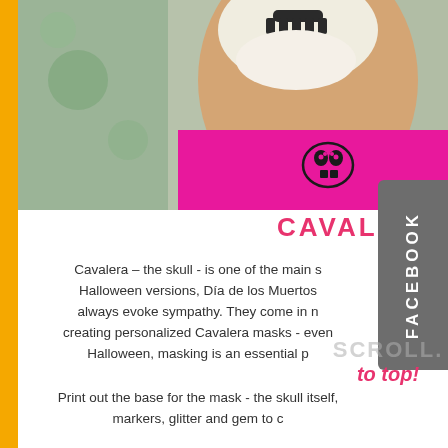[Figure (photo): Child wearing skull face paint makeup and a pink/magenta shirt with a skull graphic, photographed from chin/neck down, blurred background]
CAVALE...
Cavalera – the skull - is one of the main s... Halloween versions, Dia de los Muertos... always evoke sympathy. They come in... creating personalized Cavalera masks - even... Halloween, masking is an essential p...
Print out the base for the mask - the skull itself... markers, glitter and gem to c...